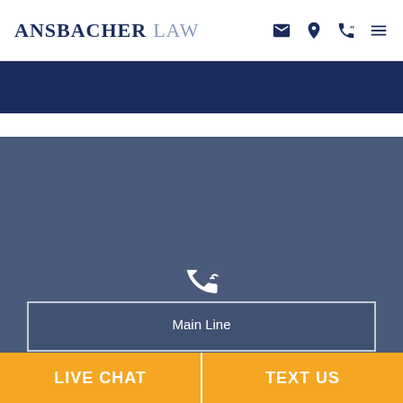ANSBACHER LAW
[Figure (screenshot): Ansbacher Law website screenshot showing header with logo, navigation icons (email, location, phone, menu), a dark navy banner, a muted blue-gray section with a phone icon and 'Main Line' label, a white outlined box, and two yellow call-to-action buttons: LIVE CHAT and TEXT US]
Main Line
LIVE CHAT
TEXT US